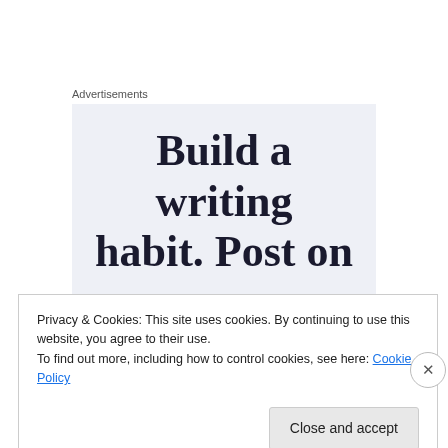Advertisements
[Figure (other): Advertisement banner with text 'Build a writing habit. Post on']
In essence, what does this mean? It means that if you are seeking to end alimony before the new law went into effect, you are relegated to the law that existed for
Privacy & Cookies: This site uses cookies. By continuing to use this website, you agree to their use.
To find out more, including how to control cookies, see here: Cookie Policy